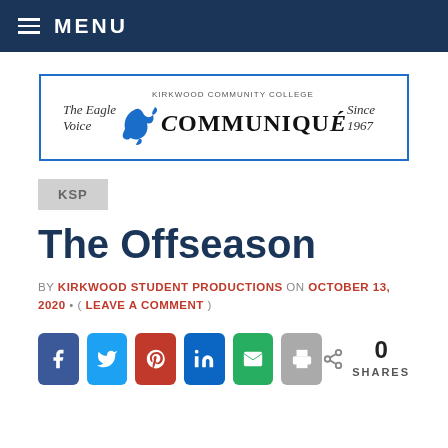≡ MENU
[Figure (logo): Communiqué newspaper logo banner with eagle graphic, 'The Eagle Voice' on left, 'COMMUNIQUÉ' in center with Kirkwood Community College subtitle, 'Since 1967' on right, bordered in blue]
KSP
The Offseason
BY KIRKWOOD STUDENT PRODUCTIONS ON OCTOBER 13, 2020 • ( LEAVE A COMMENT )
[Figure (infographic): Social share buttons: Facebook (blue), Twitter (light blue), Pinterest (red), LinkedIn (dark blue), Email (green), Print (gray). Share count showing 0 SHARES with share icon.]